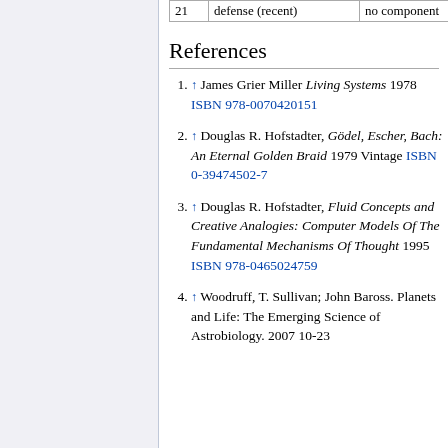|  |  |  |
| --- | --- | --- |
| 21 | defense (recent) | no component |
References
↑ James Grier Miller Living Systems 1978 ISBN 978-0070420151
↑ Douglas R. Hofstadter, Gödel, Escher, Bach: An Eternal Golden Braid 1979 Vintage ISBN 0-39474502-7
↑ Douglas R. Hofstadter, Fluid Concepts and Creative Analogies: Computer Models Of The Fundamental Mechanisms Of Thought 1995 ISBN 978-0465024759
↑ Woodruff, T. Sullivan; John Baross. Planets and Life: The Emerging Science of Astrobiology. 2007 10-23